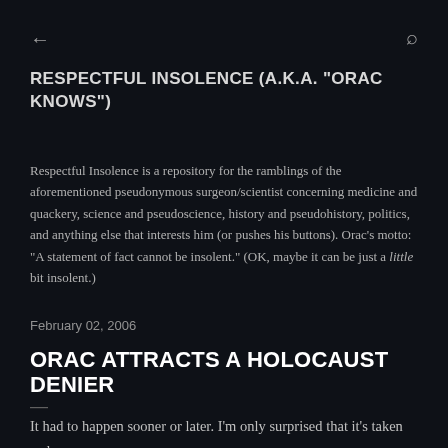← (back) Q (search)
RESPECTFUL INSOLENCE (A.K.A. "ORAC KNOWS")
Respectful Insolence is a repository for the ramblings of the aforementioned pseudonymous surgeon/scientist concerning medicine and quackery, science and pseudoscience, history and pseudohistory, politics, and anything else that interests him (or pushes his buttons). Orac's motto: "A statement of fact cannot be insolent." (OK, maybe it can be just a little bit insolent.)
February 02, 2006
ORAC ATTRACTS A HOLOCAUST DENIER
It had to happen sooner or later. I'm only surprised that it's taken so long.